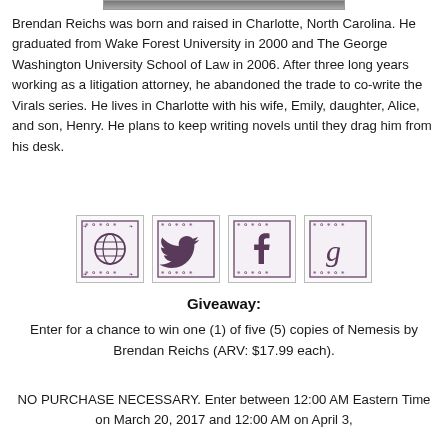[Figure (photo): Partial photo at top of page, cropped — only a thin strip visible at the top edge]
Brendan Reichs was born and raised in Charlotte, North Carolina. He graduated from Wake Forest University in 2000 and The George Washington University School of Law in 2006. After three long years working as a litigation attorney, he abandoned the trade to co-write the Virals series. He lives in Charlotte with his wife, Emily, daughter, Alice, and son, Henry. He plans to keep writing novels until they drag him from his desk.
[Figure (infographic): Four decorative social media icon buttons in ornate bordered frames: website/globe icon, Twitter bird icon, Facebook 'f' icon, Goodreads 'g' icon]
Giveaway:
Enter for a chance to win one (1) of five (5) copies of Nemesis by Brendan Reichs (ARV: $17.99 each).
NO PURCHASE NECESSARY. Enter between 12:00 AM Eastern Time on March 20, 2017 and 12:00 AM on April 3,